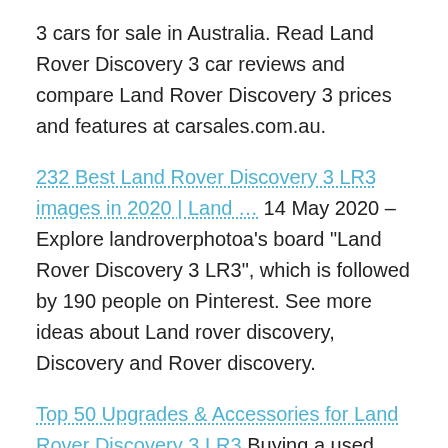3 cars for sale in Australia. Read Land Rover Discovery 3 car reviews and compare Land Rover Discovery 3 prices and features at carsales.com.au.
232 Best Land Rover Discovery 3 LR3 images in 2020 | Land … 14 May 2020 – Explore landroverphotoa's board “Land Rover Discovery 3 LR3”, which is followed by 190 people on Pinterest. See more ideas about Land rover discovery, Discovery and Rover discovery.
Top 50 Upgrades & Accessories for Land Rover Discovery 3 LR3 Buying a used Land Rover Discovery 3, 4 – LR3, LR4 (L319) 2004-2016 – Duration: 18:23. different car review 26,267 views. 18:23.